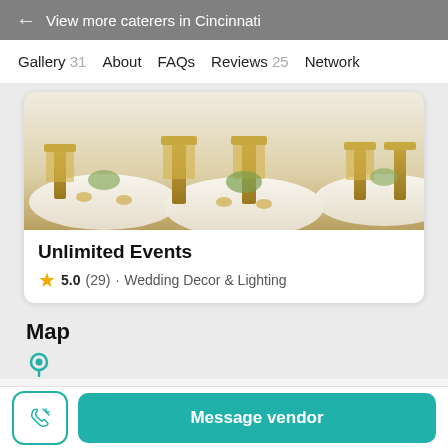← View more caterers in Cincinnati
Gallery 31   About   FAQs   Reviews 25   Network
[Figure (photo): Photo of a wedding reception table setting with gold chiavari chairs and white tablecloths with floral centerpieces]
Unlimited Events
5.0 (29) · Wedding Decor & Lighting
Map
Message vendor